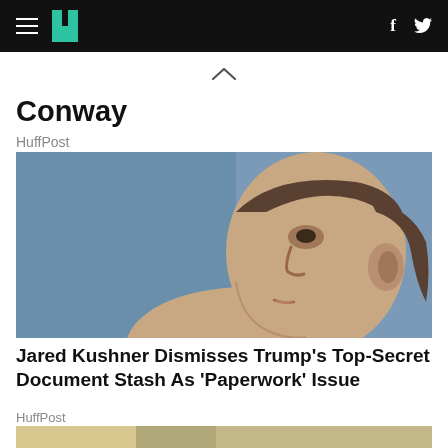HuffPost navigation bar with hamburger menu, HuffPost logo, Facebook and Twitter icons
Conway
HuffPost
[Figure (photo): Close-up side profile photo of Jared Kushner looking upward, against a blue background]
Jared Kushner Dismisses Trump's Top-Secret Document Stash As 'Paperwork' Issue
HuffPost
[Figure (photo): Partially visible image at bottom of page, cropped]